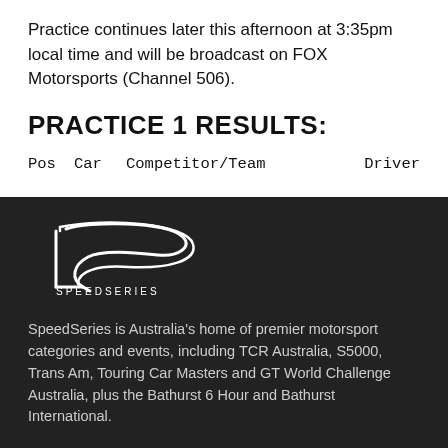Practice continues later this afternoon at 3:35pm local time and will be broadcast on FOX Motorsports (Channel 506).
PRACTICE 1 RESULTS:
| Pos | Car | Competitor/Team | Driver |
| --- | --- | --- | --- |
[Figure (logo): SpeedSeries logo — stylized S-curve with 'SPEEDSERIES' wordmark below, white on dark background]
SpeedSeries is Australia's home of premier motorsport categories and events, including TCR Australia, S5000, Trans Am, Touring Car Masters and GT World Challenge Australia, plus the Bathurst 6 Hour and Bathurst International.